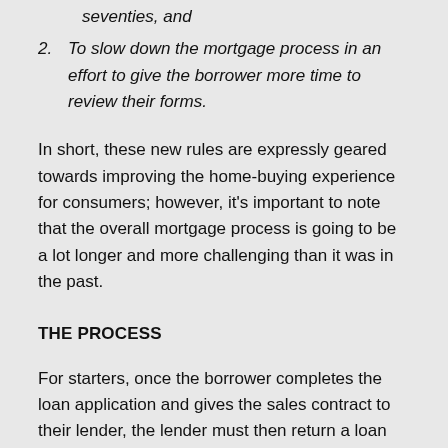seventies, and
2. To slow down the mortgage process in an effort to give the borrower more time to review their forms.
In short, these new rules are expressly geared towards improving the home-buying experience for consumers; however, it's important to note that the overall mortgage process is going to be a lot longer and more challenging than it was in the past.
THE PROCESS
For starters, once the borrower completes the loan application and gives the sales contract to their lender, the lender must then return a loan estimate to the borrower within three business days; however, before the lender can take any steps to either require loan documentation, order a title search, or mandate an